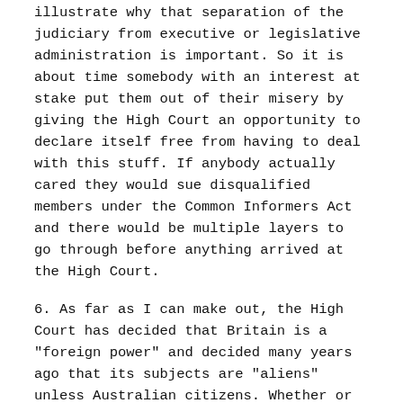illustrate why that separation of the judiciary from executive or legislative administration is important. So it is about time somebody with an interest at stake put them out of their misery by giving the High Court an opportunity to declare itself free from having to deal with this stuff. If anybody actually cared they would sue disqualified members under the Common Informers Act and there would be multiple layers to go through before anything arrived at the High Court.
6. As far as I can make out, the High Court has decided that Britain is a "foreign power" and decided many years ago that its subjects are "aliens" unless Australian citizens. Whether or not that makes any sense at all, it does not settle the issue of whether Australian citizens who are not aliens are or are not "entitled to the rights or privileges of a subject or citizen of a foreign power". On the face of it that question is firmly settled by the 1948 Nationality Acts in both Britain and Australia as agreed on by an imperial conference. These clearly and unambiguously provide that Australian citizens are "British subjects". If so, then proof of Australian citizenship, is in itself, in the absence of some renunciation of being a British subject, proof of disqualification